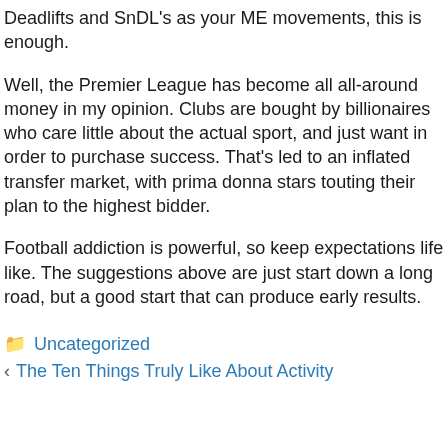Deadlifts and SnDL's as your ME movements, this is enough.
Well, the Premier League has become all all-around money in my opinion. Clubs are bought by billionaires who care little about the actual sport, and just want in order to purchase success. That's led to an inflated transfer market, with prima donna stars touting their plan to the highest bidder.
Football addiction is powerful, so keep expectations life like. The suggestions above are just start down a long road, but a good start that can produce early results.
Uncategorized
The Ten Things Truly Like About Activity